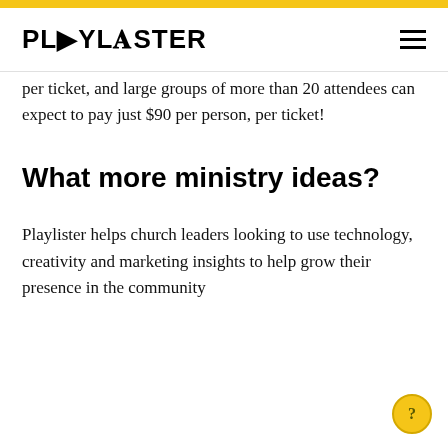PLYLISTER
per ticket, and large groups of more than 20 attendees can expect to pay just $90 per person, per ticket!
What more ministry ideas?
Playlister helps church leaders looking to use technology, creativity and marketing insights to help grow their presence in the community